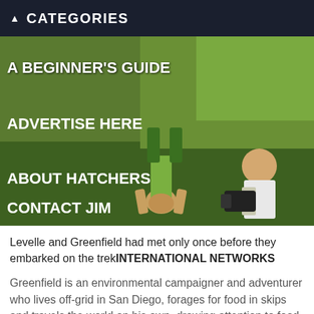CATEGORIES
[Figure (photo): A man doing a headstand on grass while another man crouches nearby filming with a camera. A cardboard sign reads 'HEAD STANDING FOR LUNCH'. Text overlays: A BEGINNER'S GUIDE, ADVERTISE HERE, ABOUT HATCHERS, CONTACT JIM]
Levelle and Greenfield had met only once before they embarked on the trekINTERNATIONAL NETWORKS
Greenfield is an environmental campaigner and adventurer who lives off-grid in San Diego, forages for food in skips and travels the world on his own, drawing attention to food waste and climate change. "If you've joined at the hip with someone else for 72